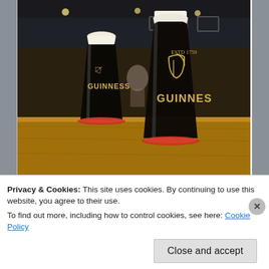[Figure (photo): Two pint glasses of Guinness stout with cream-colored heads, sitting on a wooden pub bar with red coasters. The background shows a pub interior with dark walls. Both glasses have the Guinness harp logo and branding.]
Dublin – one of our favorite cities!
Privacy & Cookies: This site uses cookies. By continuing to use this website, you agree to their use.
To find out more, including how to control cookies, see here: Cookie Policy